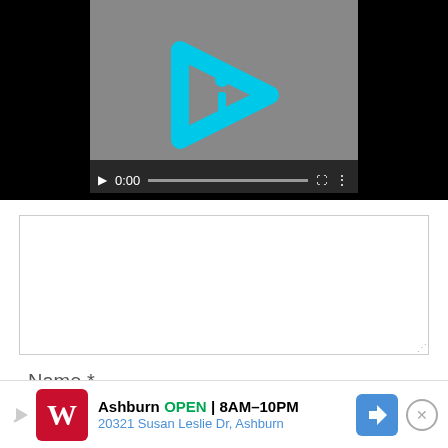[Figure (screenshot): Video player showing a logo with a cyan/turquoise play button arrow with an 'i' inside, on a gray background. Controls show play button, 0:00 timestamp, progress bar, fullscreen and more options icons.]
[Figure (screenshot): Comment/text input textarea with resize handle in bottom right corner.]
Name *
[Figure (screenshot): Name input text field (empty).]
Emai
[Figure (screenshot): Advertisement banner for Walgreens: Ashburn OPEN 8AM-10PM, 20321 Susan Leslie Dr, Ashburn. Shows Walgreens logo, navigation arrow icon, and close button.]